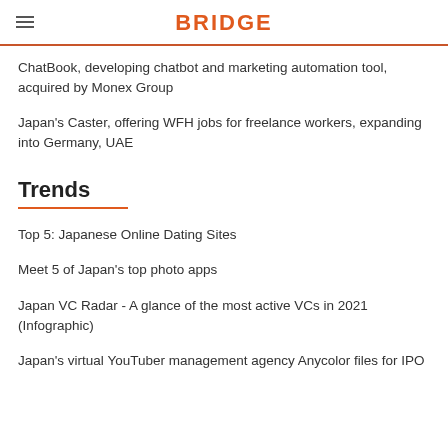BRIDGE
ChatBook, developing chatbot and marketing automation tool, acquired by Monex Group
Japan's Caster, offering WFH jobs for freelance workers, expanding into Germany, UAE
Trends
Top 5: Japanese Online Dating Sites
Meet 5 of Japan's top photo apps
Japan VC Radar - A glance of the most active VCs in 2021 (Infographic)
Japan's virtual YouTuber management agency Anycolor files for IPO